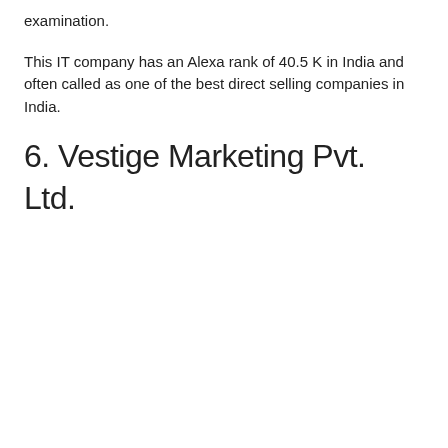examination.
This IT company has an Alexa rank of 40.5 K in India and often called as one of the best direct selling companies in India.
6. Vestige Marketing Pvt. Ltd.